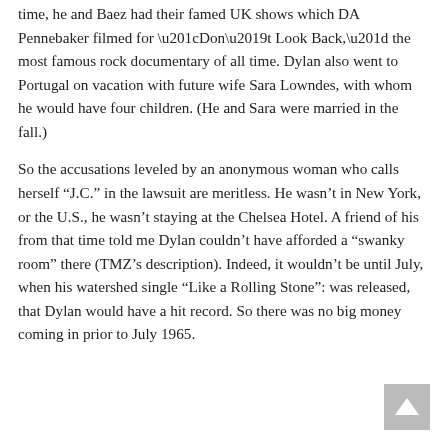time, he and Baez had their famed UK shows which DA Pennebaker filmed for “Don’t Look Back,” the most famous rock documentary of all time. Dylan also went to Portugal on vacation with future wife Sara Lowndes, with whom he would have four children. (He and Sara were married in the fall.)
So the accusations leveled by an anonymous woman who calls herself “J.C.” in the lawsuit are meritless. He wasn’t in New York, or the U.S., he wasn’t staying at the Chelsea Hotel. A friend of his from that time told me Dylan couldn’t have afforded a “swanky room” there (TMZ’s description). Indeed, it wouldn’t be until July, when his watershed single “Like a Rolling Stone”: was released, that Dylan would have a hit record. So there was no big money coming in prior to July 1965.